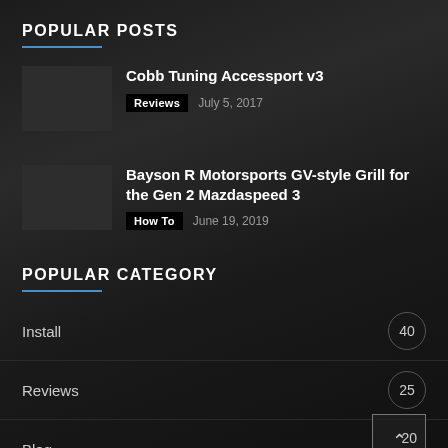POPULAR POSTS
Cobb Tuning Accessport v3
Reviews  July 5, 2017
Bayson R Motorsports GV-style Grill for the Gen 2 Mazdaspeed 3
How To  June 19, 2019
POPULAR CATEGORY
Install  40
Reviews  25
Blog  20
How To  15